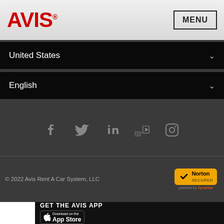AVIS
MENU
United States
English
[Figure (infographic): Social media icons: Facebook, Twitter, LinkedIn, YouTube, Instagram]
© 2022 Avis Rent A Car System, LLC
[Figure (logo): Norton Secured badge powered by Symantec]
GET THE AVIS APP
[Figure (screenshot): Download on the App Store button]